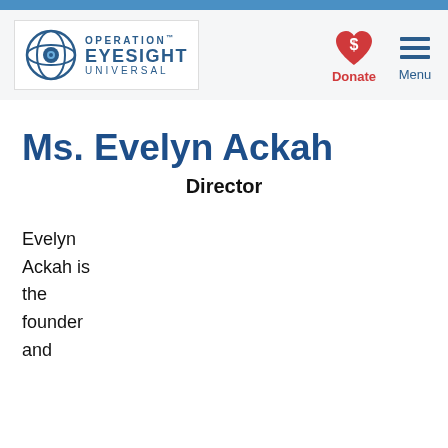[Figure (logo): Operation Eyesight Universal logo with eye icon and text]
[Figure (illustration): Red heart with dollar sign icon for Donate button]
Donate
[Figure (illustration): Three horizontal lines hamburger menu icon]
Menu
Ms. Evelyn Ackah
Director
Evelyn Ackah is the founder and